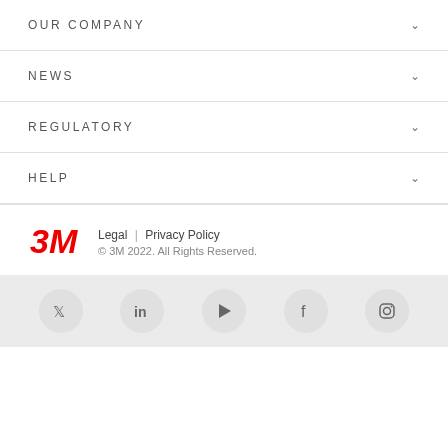OUR COMPANY
NEWS
REGULATORY
HELP
[Figure (logo): 3M company red italic bold logo]
Legal | Privacy Policy
© 3M 2022. All Rights Reserved.
[Figure (illustration): Social media icons in light gray circles: Twitter, LinkedIn, YouTube, Facebook, Instagram]